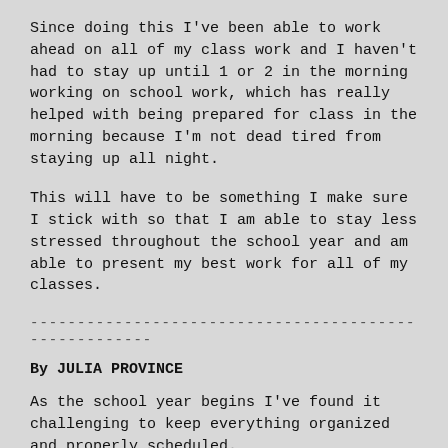Since doing this I've been able to work ahead on all of my class work and I haven't had to stay up until 1 or 2 in the morning working on school work, which has really helped with being prepared for class in the morning because I'm not dead tired from staying up all night.
This will have to be something I make sure I stick with so that I am able to stay less stressed throughout the school year and am able to present my best work for all of my classes.
------------------------------------------------------
By JULIA PROVINCE
As the school year begins I've found it challenging to keep everything organized and properly scheduled.
I've always been one who can keep my space and belongings organized quite easily, but it requires more conscious effort on my part to keep ideas, assignments and events organized.